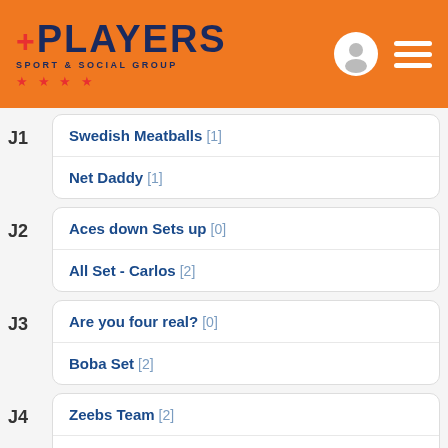[Figure (logo): Players Sport & Social Group logo with orange header background, user icon and menu icon]
J1 - Swedish Meatballs [1], Net Daddy [1]
J2 - Aces down Sets up [0], All Set - Carlos [2]
J3 - Are you four real? [0], Boba Set [2]
J4 - Zeebs Team [2], The queen is a skin suit [0]
J5 - J Stodd and the Funky Bunch [0]